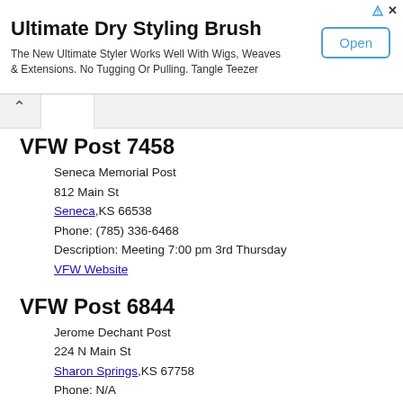[Figure (other): Advertisement banner for Ultimate Dry Styling Brush with Open button]
VFW Post 7458
Seneca Memorial Post
812 Main St
Seneca,KS 66538
Phone: (785) 336-6468
Description: Meeting 7:00 pm 3rd Thursday
VFW Website
VFW Post 6844
Jerome Dechant Post
224 N Main St
Sharon Springs,KS 67758
Phone: N/A
Description: Meeting 7:00 pm 1st Wednesday
VFW Website